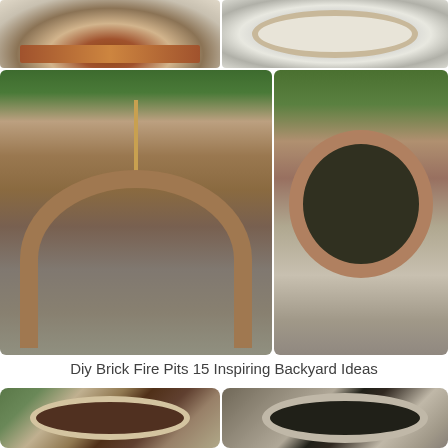[Figure (photo): Top row: two photos showing DIY brick fire pit construction stages — left shows bricks being laid in circular pattern, right shows circular brick ring viewed from above]
[Figure (photo): Middle left: large photo of circular brick fire pit under construction with wooden guide post in center, on grass]
[Figure (photo): Middle right: completed brick fire pit with fire burning inside, on grassy ground]
Diy Brick Fire Pits 15 Inspiring Backyard Ideas
[Figure (photo): Bottom row: two photos showing brick fire pit construction steps — left shows circular brick ring with dark soil inside, right shows brick fire pit ring with gravel/rocks inside]